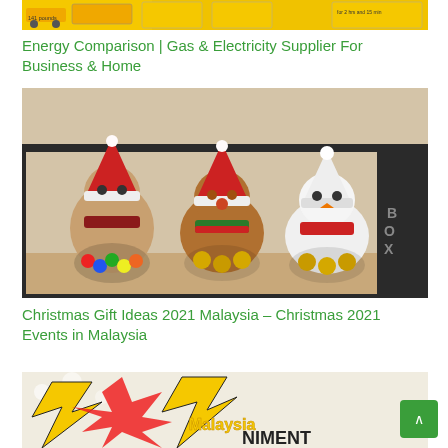[Figure (photo): Yellow/gold banner image at the top — appears to be an energy or utility-related advertisement with text '141 pounds' and other labels, yellow background with icons.]
Energy Comparison | Gas & Electricity Supplier For Business & Home
[Figure (photo): Photo of three Christmas-themed stuffed animal candy jars — a snowman, a reindeer, and an owl/bear — with colorful candies inside, displayed in a dark tray. Partially visible 'BOX' label on the right side.]
Christmas Gift Ideas 2021 Malaysia – Christmas 2021 Events in Malaysia
[Figure (photo): Partial image at the bottom showing a comic-book / entertainment graphic with yellow lightning bolt shapes, 'Malaysia' text in yellow, and the word 'NIMENT' (Entertainment) with a teal/cyan scroll-to-top button overlay in the bottom-right corner.]